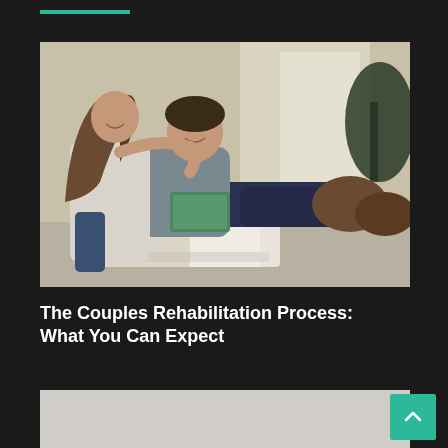[Figure (photo): A couple sitting together on a white armchair. A woman with long brown hair leans over a man who is relaxed with his legs up, both smiling and looking at something together. Bright indoor setting with curtains and a plant in background.]
The Couples Rehabilitation Process: What You Can Expect
[Figure (photo): Partial view of a second image below the title, light gray background, content cut off at page bottom.]